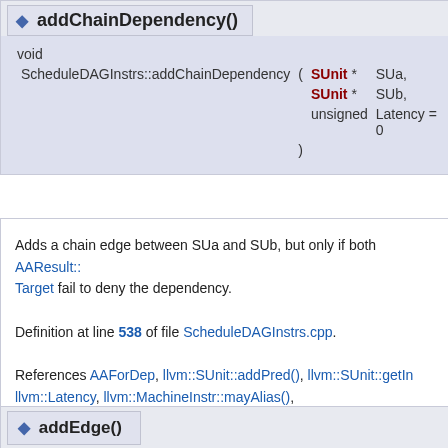addChainDependency()
void ScheduleDAGInstrs::addChainDependency ( SUnit * SUa, SUnit * SUb, unsigned Latency = 0 )
Adds a chain edge between SUa and SUb, but only if both AAResult::alias and AliasAnalysis::getModRefInfo fail to deny the dependency.
Definition at line 538 of file ScheduleDAGInstrs.cpp.
References AAForDep, llvm::SUnit::addPred(), llvm::SUnit::getInstr(), llvm::Latency, llvm::MachineInstr::mayAlias(), llvm::SDep::MayAliasMem, llvm::SDep::setLatency(), and UseTBAA.
addEdge()
bool ScheduleDAGInstrs::addEdge ( SUnit *